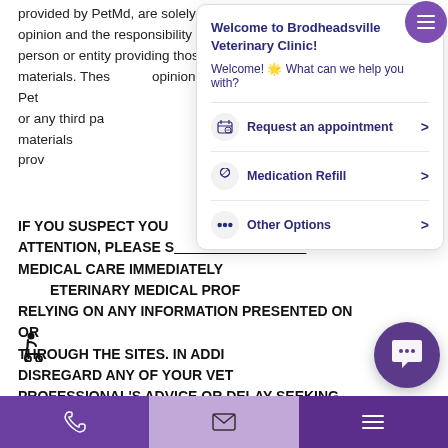provided by PetMd, are solely the opinion and the responsibility of the person or entity providing those materials. These materials do not represent the opinion of PetMd or any third party and materials provided by any third parties.
[Figure (screenshot): Chat popup overlay from Brodheadsville Veterinary Clinic website with welcome message and options: Request an appointment, Medication Refill, Other Options]
IF YOU SUSPECT YOUR PET NEEDS IMMEDIATE ATTENTION, PLEASE SEEK VETERINARY MEDICAL CARE IMMEDIATELY AND DO NOT SOLELY RELY ON VETERINARY MEDICAL PROFESSIONAL'S ADVICE OR NOT SOLELY RELY ON RELYING ON ANY INFORMATION PRESENTED ON OR THROUGH THE SITES. IN ADDITION, DO NOT DISREGARD ANY OF YOUR VETERINARY MEDICAL PROFESSIONAL'S ADVICE OR DELAY SEEKING SUCH ADVICE BECAUSE OF ANY INFORMATION PRESENTED ON OR THROUGH OR OTHERWISE RELATED TO THE SITES.
Phone | Email | Menu